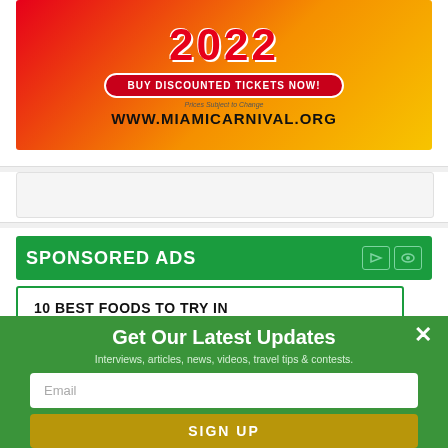[Figure (illustration): Miami Carnival 2022 advertisement banner with yellow/red gradient background showing '2022', 'BUY DISCOUNTED TICKETS NOW!' button, 'Prices Subject to Change', and 'WWW.MIAMICARNIVAL.ORG']
[Figure (other): Empty white ad slot]
[Figure (other): Sponsored Ads panel with green header labeled 'SPONSORED ADS' and two white bordered links: '10 BEST FOODS TO TRY IN' and '10 BEST HOTELS IN JAMAICA']
Get Our Latest Updates
Interviews, articles, news, videos, travel tips & contests.
Email
SIGN UP